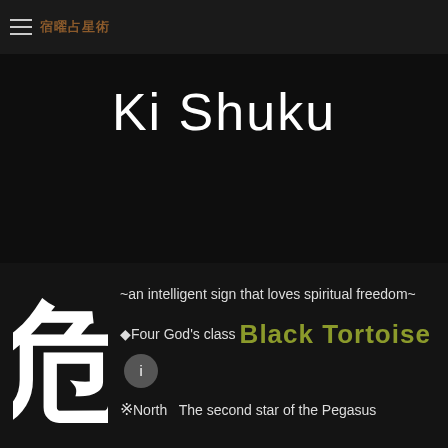≡ 宿曜占星術
Ki Shuku
[Figure (illustration): White calligraphic kanji character on black background, representing the Ki Shuku star sign]
~an intelligent sign that loves spiritual freedom~
◆Four God's class  Black Tortoise
※North  The second star of the Pegasus